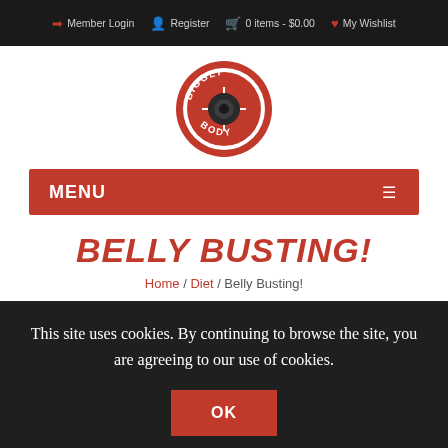Member Login  Register  0 items - $0.00  My Wishlist
[Figure (logo): Biggly Body circular red weight plate logo with 'BIGGLY BODY' text around the rim]
MENU
BELLY BUSTING!
Home / Diet / Belly Busting!
This site uses cookies. By continuing to browse the site, you are agreeing to our use of cookies.